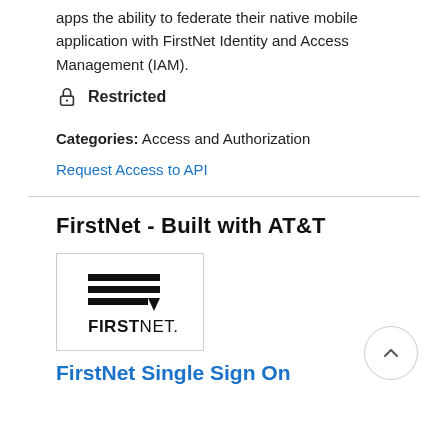FirstNet Single Sign On Mobile provides third party apps the ability to federate their native mobile application with FirstNet Identity and Access Management (IAM).
🔒 Restricted
Categories: Access and Authorization
Request Access to API
FirstNet - Built with AT&T
[Figure (logo): FirstNet logo in a bordered box showing stacked horizontal lines above the text FIRSTNET.]
FirstNet Single Sign On